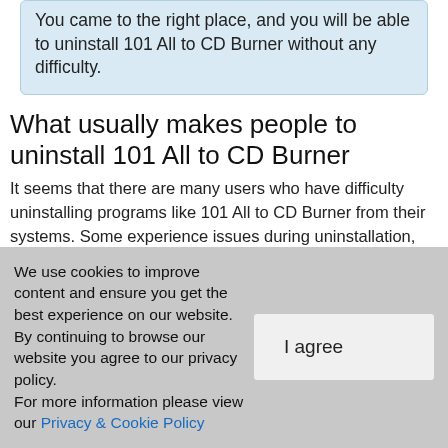You came to the right place, and you will be able to uninstall 101 All to CD Burner without any difficulty.
What usually makes people to uninstall 101 All to CD Burner
It seems that there are many users who have difficulty uninstalling programs like 101 All to CD Burner from their systems. Some experience issues during uninstallation, whereas other encounter problems after the program is
We use cookies to improve content and ensure you get the best experience on our website. By continuing to browse our website you agree to our privacy policy. For more information please view our Privacy & Cookie Policy